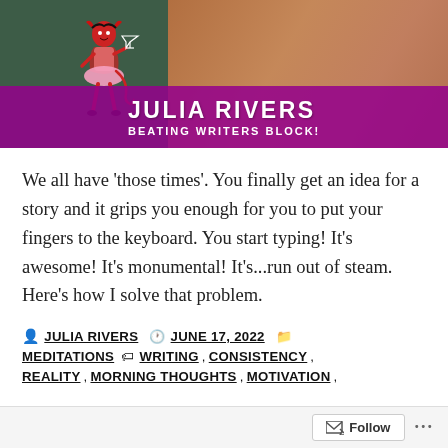[Figure (photo): Blog header image for 'Julia Rivers - Beating Writers Block!' showing a decorative cartoon devil woman figure on the left against a dark green background, and a person's bare shoulder/back on the right with warm tones. A magenta/purple banner overlays the bottom portion with the site title 'JULIA RIVERS' and subtitle 'BEATING WRITERS BLOCK!']
We all have 'those times'. You finally get an idea for a story and it grips you enough for you to put your fingers to the keyboard. You start typing! It's awesome! It's monumental! It's...run out of steam. Here's how I solve that problem.
JULIA RIVERS   JUNE 17, 2022   MEDITATIONS   WRITING, CONSISTENCY, REALITY, MORNING THOUGHTS, MOTIVATION,
Follow   ...